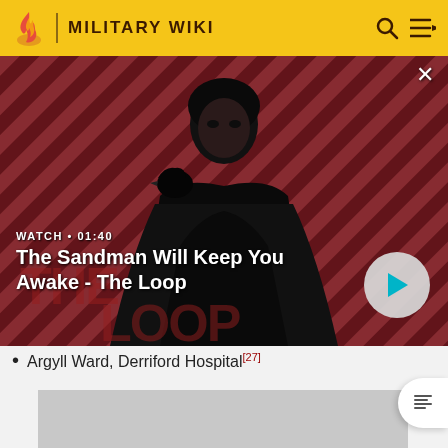MILITARY WIKI
[Figure (screenshot): Video thumbnail showing a dark-cloaked figure with a raven on shoulder against red-striped background. Title overlay: 'The Sandman Will Keep You Awake - The Loop'. Watch duration: 01:40. Play button visible at bottom right.]
Argyll Ward, Derriford Hospital[27]
[Figure (other): Gray advertisement placeholder image]